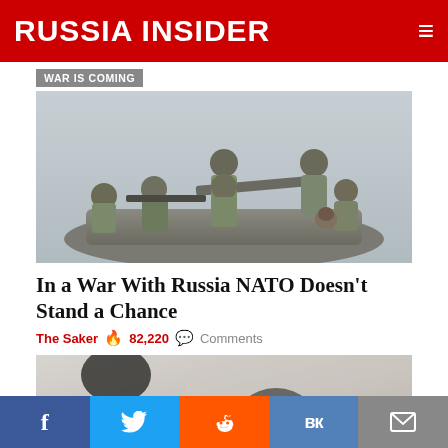RUSSIA INSIDER
WAR IS COMING
[Figure (photo): Soldiers in camouflage uniforms and helmets sitting on or around a military armored vehicle, armed with rifles]
In a War With Russia NATO Doesn't Stand a Chance
The Saker  82,220  Comments
[Figure (photo): Partial view of a person's silhouette in an indoor setting]
f  Twitter  Reddit  VK  Email